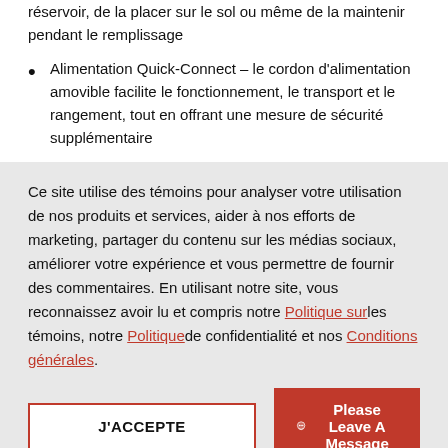réservoir, de la placer sur le sol ou même de la maintenir pendant le remplissage
Alimentation Quick-Connect – le cordon d'alimentation amovible facilite le fonctionnement, le transport et le rangement, tout en offrant une mesure de sécurité supplémentaire
Ce site utilise des témoins pour analyser votre utilisation de nos produits et services, aider à nos efforts de marketing, partager du contenu sur les médias sociaux, améliorer votre expérience et vous permettre de fournir des commentaires. En utilisant notre site, vous reconnaissez avoir lu et compris notre Politique sur les témoins, notre Politique de confidentialité et nos Conditions générales.
J'ACCEPTE
Please Leave A Message